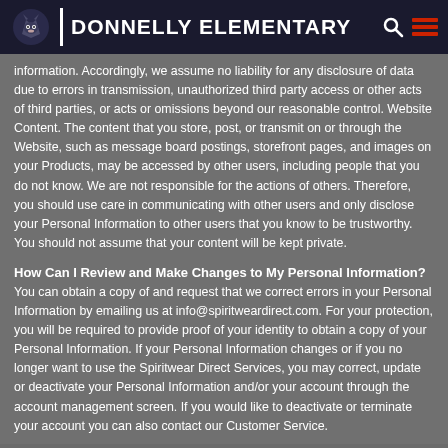DONNELLY ELEMENTARY
information. Accordingly, we assume no liability for any disclosure of data due to errors in transmission, unauthorized third party access or other acts of third parties, or acts or omissions beyond our reasonable control. Website Content. The content that you store, post, or transmit on or through the Website, such as message board postings, storefront pages, and images on your Products, may be accessed by other users, including people that you do not know. We are not responsible for the actions of others. Therefore, you should use care in communicating with other users and only disclose your Personal Information to other users that you know to be trustworthy. You should not assume that your content will be kept private.
How Can I Review and Make Changes to My Personal Information?
You can obtain a copy of and request that we correct errors in your Personal Information by emailing us at info@spiritweardirect.com. For your protection, you will be required to provide proof of your identity to obtain a copy of your Personal Information. If your Personal Information changes or if you no longer want to use the Spiritwear Direct Services, you may correct, update or deactivate your Personal Information and/or your account through the account management screen. If you would like to deactivate or terminate your account you can also contact our Customer Service.